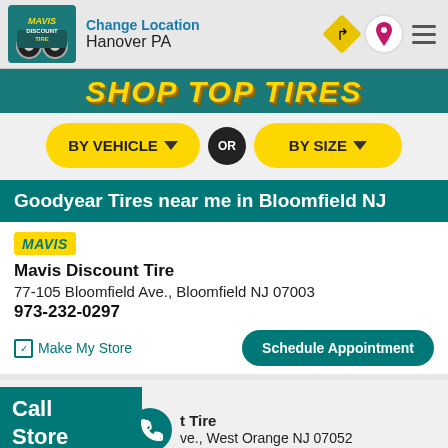Change Location | Hanover PA
[Figure (screenshot): Mavis Discount Tire logo with navigation icons (direction sign, location pin, hamburger menu)]
[Figure (infographic): Shop Top Tires banner in yellow italic bold text]
BY VEHICLE ▼  OR  BY SIZE ▼
Goodyear Tires near me in Bloomfield NJ
MAVIS
Mavis Discount Tire
77-105 Bloomfield Ave., Bloomfield NJ 07003
973-232-0297
✓ Make My Store
Schedule Appointment
MAVIS
Discount Tire
t Tire
ve., West Orange NJ 07052
Call Store